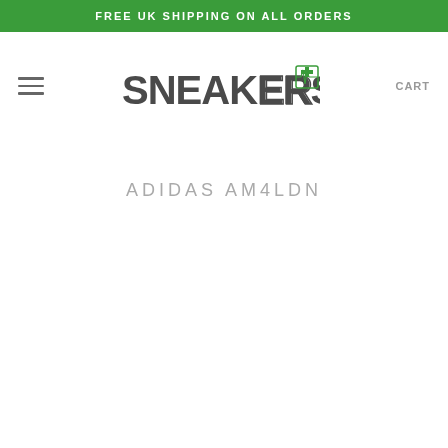FREE UK SHIPPING ON ALL ORDERS
[Figure (logo): SneakersER+ logo with green cross and heartbeat icon]
ADIDAS AM4LDN